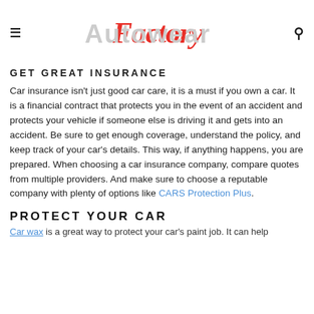≡  Factory [Autowear]  🔍
GET GREAT INSURANCE
Car insurance isn't just good car care, it is a must if you own a car. It is a financial contract that protects you in the event of an accident and protects your vehicle if someone else is driving it and gets into an accident. Be sure to get enough coverage, understand the policy, and keep track of your car's details. This way, if anything happens, you are prepared. When choosing a car insurance company, compare quotes from multiple providers. And make sure to choose a reputable company with plenty of options like CARS Protection Plus.
PROTECT YOUR CAR
Car wax is a great way to protect your car's paint job. It can help